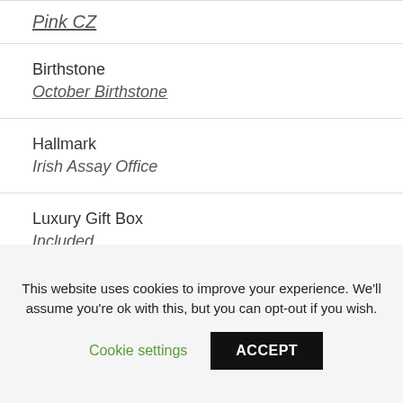Pink CZ
Birthstone
October Birthstone
Hallmark
Irish Assay Office
Luxury Gift Box
Included
This website uses cookies to improve your experience. We'll assume you're ok with this, but you can opt-out if you wish.
Cookie settings | ACCEPT